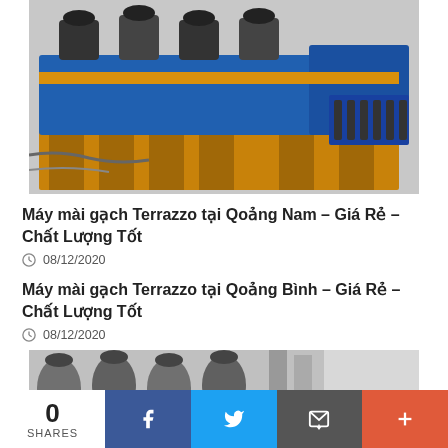[Figure (photo): Industrial Terrazzo tile grinding/polishing machines on wooden frames, blue conveyor section visible, workshop setting]
Máy mài gạch Terrazzo tại Qoảng Nam – Giá Rẻ – Chất Lượng Tốt
08/12/2020
Máy mài gạch Terrazzo tại Qoảng Bình – Giá Rẻ – Chất Lượng Tốt
08/12/2020
[Figure (photo): Close-up of Terrazzo tile grinding machines showing motors/spindles on yellow wooden stands in workshop]
0 SHARES
[Figure (infographic): Social share bar: Facebook, Twitter, Email, Plus buttons]